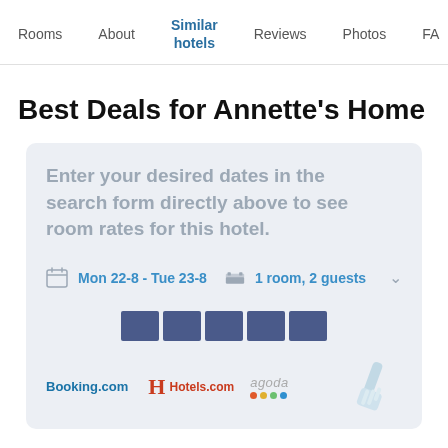Rooms   About   Similar hotels   Reviews   Photos   FA...
Best Deals for Annette's Home
Enter your desired dates in the search form directly above to see room rates for this hotel.
Mon 22-8 - Tue 23-8    1 room, 2 guests
[Figure (other): Price comparison bar chart placeholders and logos for Booking.com, Hotels.com, agoda]